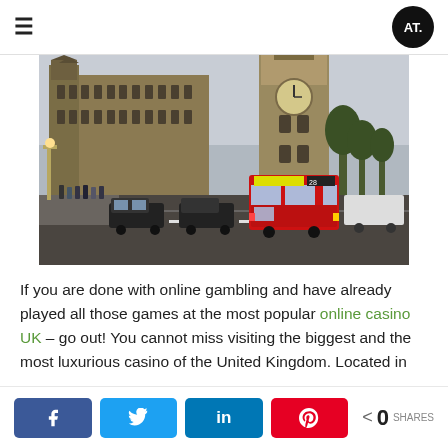≡  [logo: AT]
[Figure (photo): Street scene in London showing the Houses of Parliament and Big Ben towers, with a red double-decker bus and black taxis on a road, people walking on the pavement.]
If you are done with online gambling and have already played all those games at the most popular online casino UK – go out! You cannot miss visiting the biggest and the most luxurious casino of the United Kingdom. Located in
Share buttons: Facebook, Twitter, LinkedIn, Pinterest | 0 SHARES